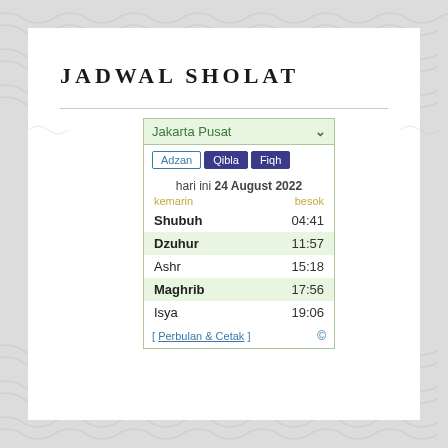JADWAL SHOLAT
[Figure (screenshot): A prayer schedule (Jadwal Sholat) widget showing Jakarta Pusat times for 24 August 2022. Tabs: Adzan, Qibla, Fiqh. Prayer times: Shubuh 04:41, Dzuhur 11:57, Ashr 15:18, Maghrib 17:56, Isya 19:06. Footer link: Perbulan & Cetak.]